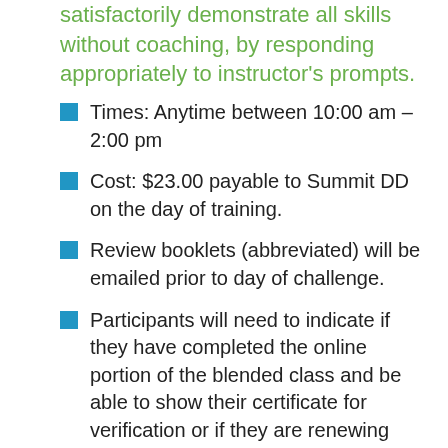satisfactorily demonstrate all skills without coaching, by responding appropriately to instructor's prompts.
Times: Anytime between 10:00 am – 2:00 pm
Cost: $23.00 payable to Summit DD on the day of training.
Review booklets (abbreviated) will be emailed prior to day of challenge.
Participants will need to indicate if they have completed the online portion of the blended class and be able to show their certificate for verification or if they are renewing their CPR/FA certification, on the day of training.